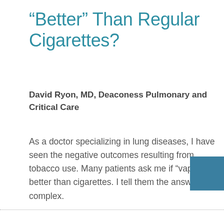“Better” Than Regular Cigarettes?
David Ryon, MD, Deaconess Pulmonary and Critical Care
As a doctor specializing in lung diseases, I have seen the negative outcomes resulting from tobacco use. Many patients ask me if “vaping” is better than cigarettes. I tell them the answer is complex.